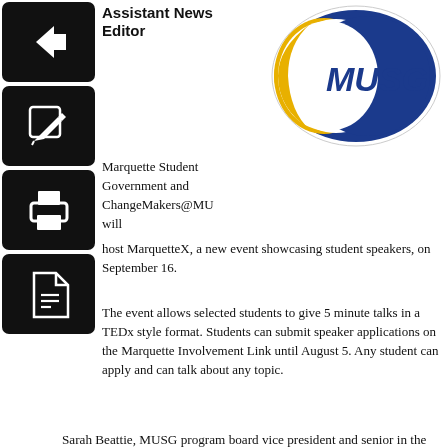Natalie Wickman, Assistant News Editor
[Figure (logo): MUSG (Marquette University Student Government) logo — blue oval with gold crescent and MUSG text in blue italic letters]
Marquette Student Government and ChangeMakers@MU will host MarquetteX, a new event showcasing student speakers, on September 16.
The event allows selected students to give 5 minute talks in a TEDx style format. Students can submit speaker applications on the Marquette Involvement Link until August 5. Any student can apply and can talk about any topic.
Sarah Beattie, MUSG program board vice president and senior in the College of Communication, said MUSG is in the process of partnering with NEWaukee, a social architecture firm focused on connecting the people of Milwaukee. If partnered, the event may potentially be held on the roof of downtown’s Boston Store building during a Night Market.
“We are especially excited about this because it will foster, not only a deeper relationship among students, but a relationship between students and the city of Milwaukee,” Beattie said in an email.